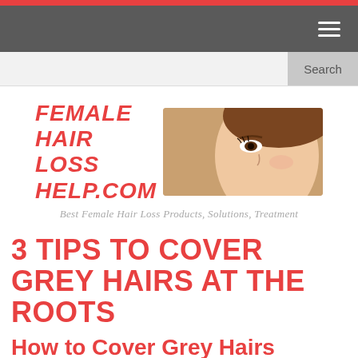[Figure (logo): Female Hair Loss Help.com logo with text and woman's face photo, tagline: Best Female Hair Loss Products, Solutions, Treatment]
3 TIPS TO COVER GREY HAIRS AT THE ROOTS
How to Cover Grey Hairs
When the pesky grey hairs start to appear